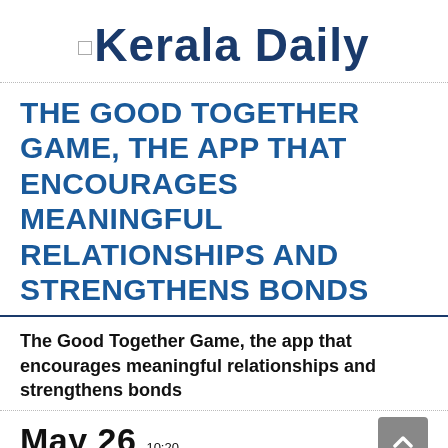Kerala Daily
THE GOOD TOGETHER GAME, THE APP THAT ENCOURAGES MEANINGFUL RELATIONSHIPS AND STRENGTHENS BONDS
The Good Together Game, the app that encourages meaningful relationships and strengthens bonds
May 26  10:20  2022